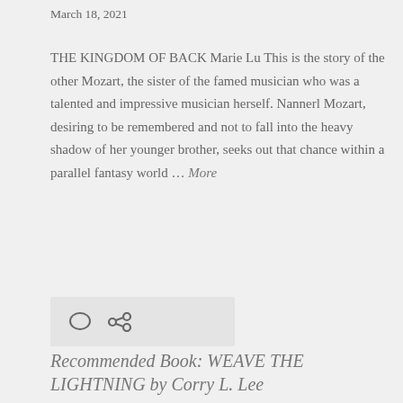March 18, 2021
THE KINGDOM OF BACK Marie Lu This is the story of the other Mozart, the sister of the famed musician who was a talented and impressive musician herself. Nannerl Mozart, desiring to be remembered and not to fall into the heavy shadow of her younger brother, seeks out that chance within a parallel fantasy world ... More
[Figure (other): Comment and share icons on a light grey background box]
Recommended Book: WEAVE THE LIGHTNING by Corry L. Lee
January 7, 2021
WEAVE THE LIGHTNING by Corry L. Lee This is the...